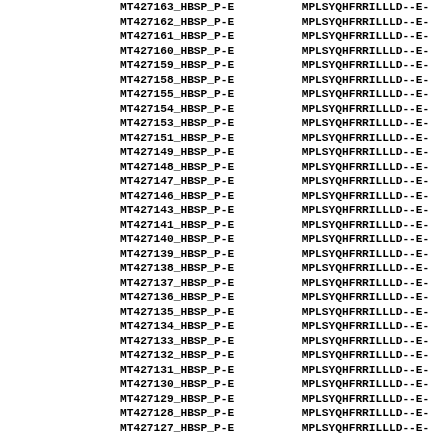| Sequence ID | Sequence |
| --- | --- |
| MT427163_HBSP_P-E | MPLSYQHFRRILLLD--E- |
| MT427162_HBSP_P-E | MPLSYQHFRRILLLD--E- |
| MT427161_HBSP_P-E | MPLSYQHFRRILLLD--E- |
| MT427160_HBSP_P-E | MPLSYQHFRRILLLD--E- |
| MT427159_HBSP_P-E | MPLSYQHFRRILLLD--E- |
| MT427158_HBSP_P-E | MPLSYQHFRRILLLD--E- |
| MT427155_HBSP_P-E | MPLSYQHFRRILLLD--E- |
| MT427154_HBSP_P-E | MPLSYQHFRRILLLD--E- |
| MT427153_HBSP_P-E | MPLSYQHFRRILLLD--E- |
| MT427151_HBSP_P-E | MPLSYQHFRRILLLD--E- |
| MT427149_HBSP_P-E | MPLSYQHFRRILLLD--E- |
| MT427148_HBSP_P-E | MPLSYQHFRRILLLD--E- |
| MT427147_HBSP_P-E | MPLSYQHFRRILLLD--E- |
| MT427146_HBSP_P-E | MPLSYQHFRRILLLD--E- |
| MT427143_HBSP_P-E | MPLSYQHFRRILLLD--E- |
| MT427141_HBSP_P-E | MPLSYQHFRRILLLD--E- |
| MT427140_HBSP_P-E | MPLSYQHFRRILLLD--E- |
| MT427139_HBSP_P-E | MPLSYQHFRRILLLD--E- |
| MT427138_HBSP_P-E | MPLSYQHFRRILLLD--E- |
| MT427137_HBSP_P-E | MPLSYQHFRRILLLD--E- |
| MT427136_HBSP_P-E | MPLSYQHFRRILLLD--E- |
| MT427135_HBSP_P-E | MPLSYQHFRRILLLD--E- |
| MT427134_HBSP_P-E | MPLSYQHFRRILLLD--E- |
| MT427133_HBSP_P-E | MPLSYQHFRRILLLD--E- |
| MT427132_HBSP_P-E | MPLSYQHFRRILLLD--E- |
| MT427131_HBSP_P-E | MPLSYQHFRRILLLD--E- |
| MT427130_HBSP_P-E | MPLSYQHFRRILLLD--E- |
| MT427129_HBSP_P-E | MPLSYQHFRRILLLD--E- |
| MT427128_HBSP_P-E | MPLSYQHFRRILLLD--E- |
| MT427127_HBSP_P-E | MPLSYQHFRRILLLD--E- |